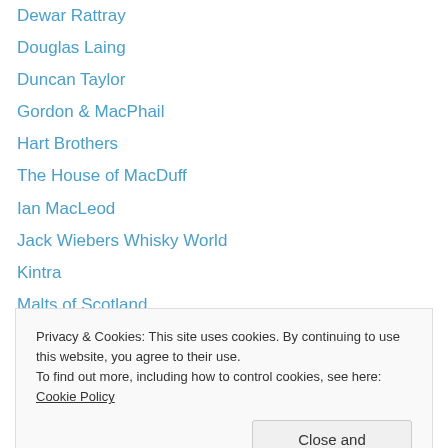Dewar Rattray
Douglas Laing
Duncan Taylor
Gordon & MacPhail
Hart Brothers
The House of MacDuff
Ian MacLeod
Jack Wiebers Whisky World
Kintra
Malts of Scotland
Master of Malt
Mo Òr
Murray McDavid
The Nectar
The Ultimate
Privacy & Cookies: This site uses cookies. By continuing to use this website, you agree to their use.
To find out more, including how to control cookies, see here: Cookie Policy
Close and accept